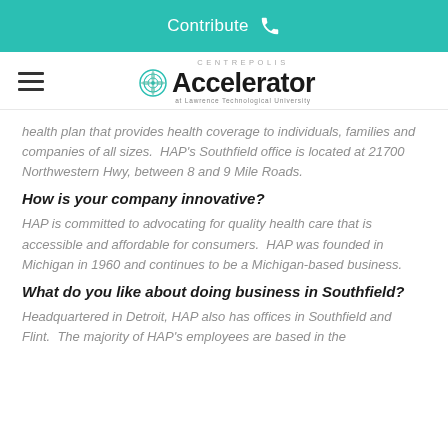Contribute
[Figure (logo): Centrepolis Accelerator at Lawrence Technological University logo with hamburger menu icon]
health plan that provides health coverage to individuals, families and companies of all sizes.  HAP's Southfield office is located at 21700 Northwestern Hwy, between 8 and 9 Mile Roads.
How is your company innovative?
HAP is committed to advocating for quality health care that is accessible and affordable for consumers.  HAP was founded in Michigan in 1960 and continues to be a Michigan-based business.
What do you like about doing business in Southfield?
Headquartered in Detroit, HAP also has offices in Southfield and Flint.  The majority of HAP's employees are based in the